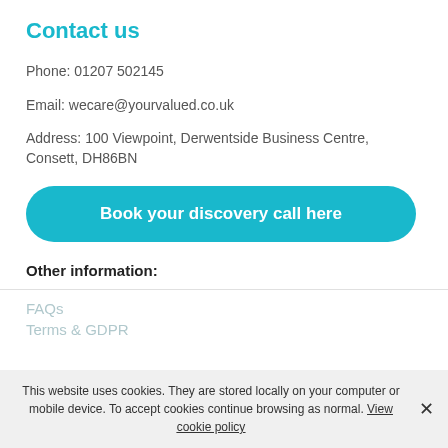Contact us
Phone: 01207 502145
Email: wecare@yourvalued.co.uk
Address: 100 Viewpoint, Derwentside Business Centre, Consett, DH86BN
[Figure (other): Teal rounded button with white bold text: 'Book your discovery call here']
Other information:
FAQs
Terms & GDPR
This website uses cookies. They are stored locally on your computer or mobile device. To accept cookies continue browsing as normal. View cookie policy